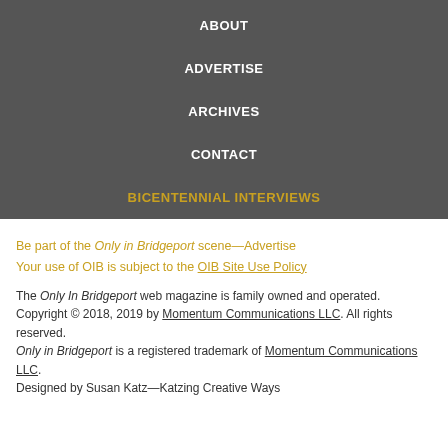ABOUT
ADVERTISE
ARCHIVES
CONTACT
BICENTENNIAL INTERVIEWS
Be part of the Only in Bridgeport scene—Advertise
Your use of OIB is subject to the OIB Site Use Policy
The Only In Bridgeport web magazine is family owned and operated.
Copyright © 2018, 2019 by Momentum Communications LLC. All rights reserved.
Only in Bridgeport is a registered trademark of Momentum Communications LLC.
Designed by Susan Katz—Katzing Creative Ways